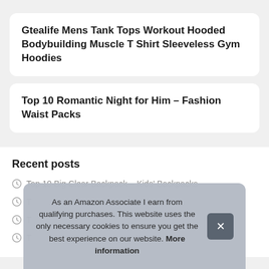Gtealife Mens Tank Tops Workout Hooded Bodybuilding Muscle T Shirt Sleeveless Gym Hoodies
Top 10 Romantic Night for Him – Fashion Waist Packs
Recent posts
Top 10 Big Clear Backpack – Kids' Backpacks
T
T
T
As an Amazon Associate I earn from qualifying purchases. This website uses the only necessary cookies to ensure you get the best experience on our website. More information